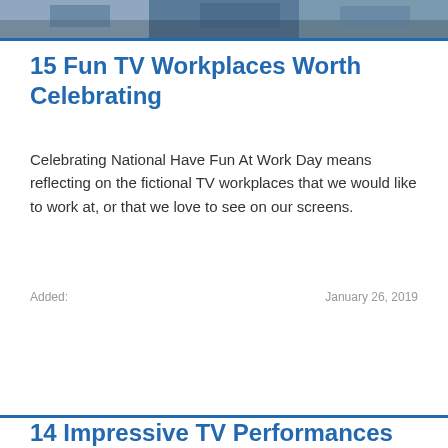[Figure (photo): Top banner image showing a TV workplace scene, partially visible at the top of the page]
15 Fun TV Workplaces Worth Celebrating
Celebrating National Have Fun At Work Day means reflecting on the fictional TV workplaces that we would like to work at, or that we love to see on our screens.
Added: January 26, 2019
14 Impressive TV Performances